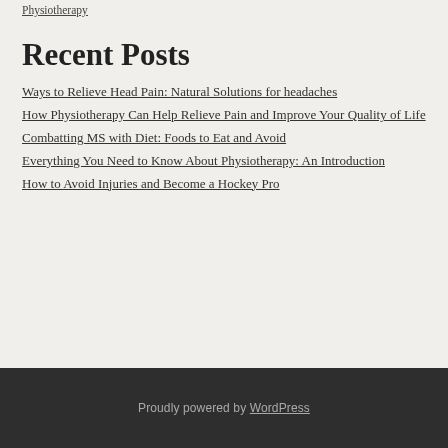Physiotherapy
Recent Posts
Ways to Relieve Head Pain: Natural Solutions for headaches
How Physiotherapy Can Help Relieve Pain and Improve Your Quality of Life
Combatting MS with Diet: Foods to Eat and Avoid
Everything You Need to Know About Physiotherapy: An Introduction
How to Avoid Injuries and Become a Hockey Pro
Proudly powered by WordPress